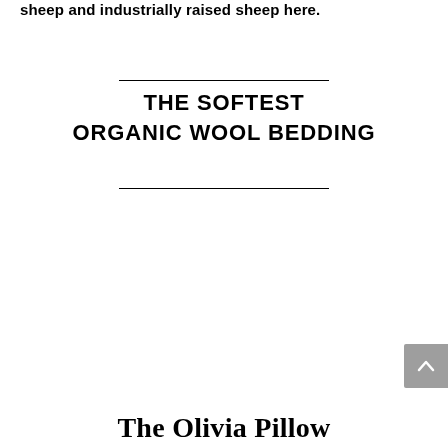sheep and industrially raised sheep here.
THE SOFTEST ORGANIC WOOL BEDDING
The Olivia Pillow